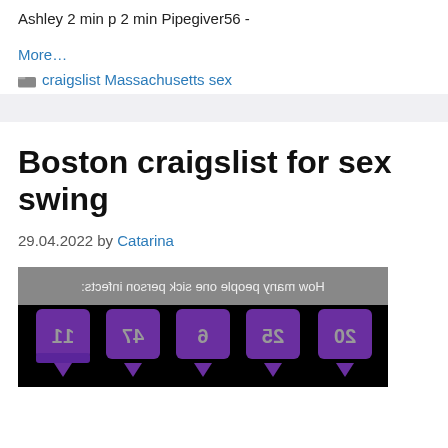Ashley 2 min p 2 min Pipegiver56 -
More...
craigslist Massachusetts sex
Boston craigslist for sex swing
29.04.2022 by Catarina
[Figure (photo): Mirrored/flipped image showing text 'How many people one sick person infects:' with purple pin/tag shapes below containing numbers, all horizontally mirrored]